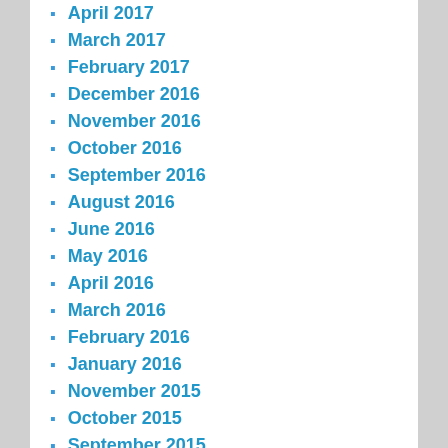April 2017
March 2017
February 2017
December 2016
November 2016
October 2016
September 2016
August 2016
June 2016
May 2016
April 2016
March 2016
February 2016
January 2016
November 2015
October 2015
September 2015
August 2015
July 2015
June 2015
May 2015